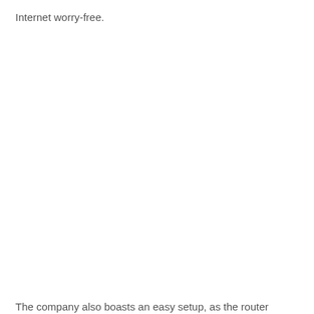Internet worry-free.
The company also boasts an easy setup, as the router